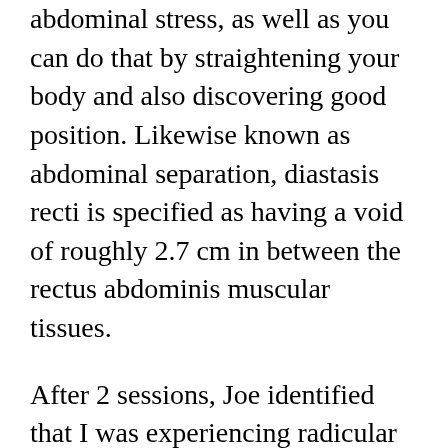abdominal stress, as well as you can do that by straightening your body and also discovering good position. Likewise known as abdominal separation, diastasis recti is specified as having a void of roughly 2.7 cm in between the rectus abdominis muscular tissues.
After 2 sessions, Joe identified that I was experiencing radicular discomfort from my back. I then had actually an especially customized exercise and stretching plan developed, just for me. This plan has actually been enabling me to manage my discomfort and truthfully even have totally discomfort-cost-free days also.